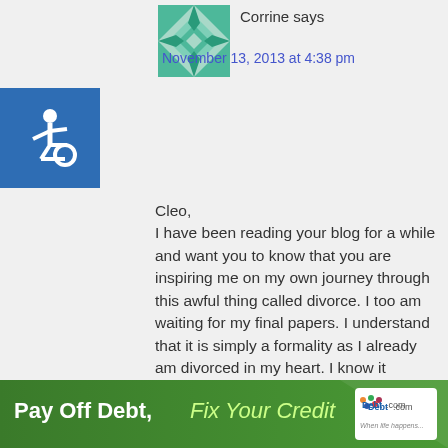Corrine says
November 13, 2013 at 4:38 pm
[Figure (illustration): Teal/green quilt-pattern avatar icon]
[Figure (illustration): Blue square accessibility wheelchair icon]
Cleo,
I have been reading your blog for a while and want you to know that you are inspiring me on my own journey through this awful thing called divorce. I too am waiting for my final papers. I understand that it is simply a formality as I already am divorced in my heart. I know it sounds silly but my divorce being final marks the beginning of a life the universe always intended me to live. I just wasn't listening. I had my own version of the pocket call a little more than a year ago.
Alot has happened since then. I loved your
[Figure (infographic): Ad banner: Pay Off Debt, Fix Your Credit — Debt.com]